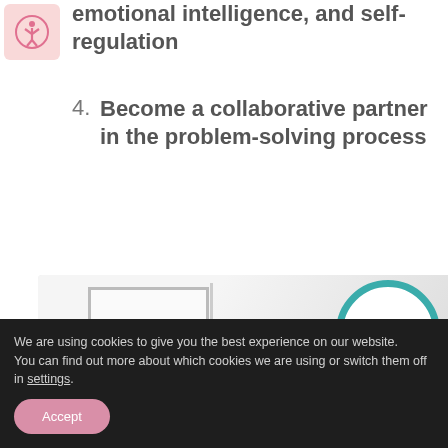emotional intelligence, and self-regulation
4. Become a collaborative partner in the problem-solving process
[Figure (photo): Photo showing printed educational materials/cards and a circular teal badge/logo on a white background]
We are using cookies to give you the best experience on our website.
You can find out more about which cookies we are using or switch them off in settings.
Accept